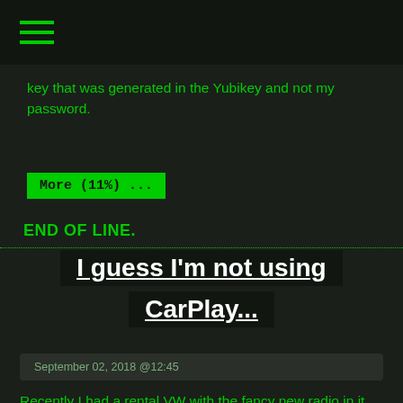☰
key that was generated in the Yubikey and not my password.
More (11%) ...
END OF LINE.
I guess I'm not using CarPlay...
September 02, 2018 @12:45
Recently I had a rental VW with the fancy new radio in it and I figured I'd give CarPlay a shot.